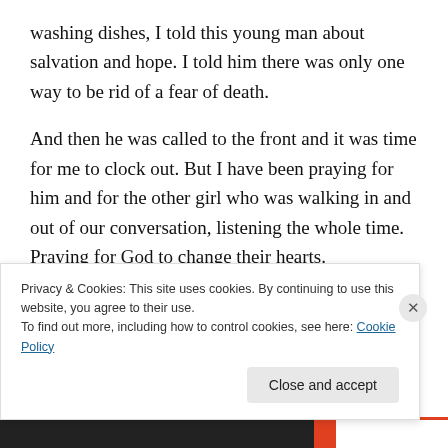washing dishes, I told this young man about salvation and hope. I told him there was only one way to be rid of a fear of death.
And then he was called to the front and it was time for me to clock out. But I have been praying for him and for the other girl who was walking in and out of our conversation, listening the whole time. Praying for God to change their hearts.
Hmmm…how very simple it was and yet how very hard at
Privacy & Cookies: This site uses cookies. By continuing to use this website, you agree to their use.
To find out more, including how to control cookies, see here: Cookie Policy
Close and accept